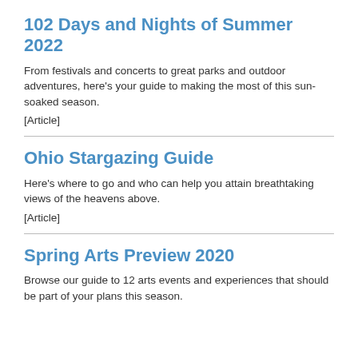102 Days and Nights of Summer 2022
From festivals and concerts to great parks and outdoor adventures, here's your guide to making the most of this sun-soaked season.
[Article]
Ohio Stargazing Guide
Here's where to go and who can help you attain breathtaking views of the heavens above.
[Article]
Spring Arts Preview 2020
Browse our guide to 12 arts events and experiences that should be part of your plans this season.